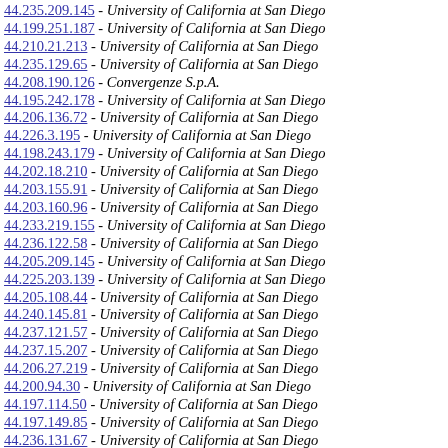44.235.209.145 - University of California at San Diego
44.199.251.187 - University of California at San Diego
44.210.21.213 - University of California at San Diego
44.235.129.65 - University of California at San Diego
44.208.190.126 - Convergenze S.p.A.
44.195.242.178 - University of California at San Diego
44.206.136.72 - University of California at San Diego
44.226.3.195 - University of California at San Diego
44.198.243.179 - University of California at San Diego
44.202.18.210 - University of California at San Diego
44.203.155.91 - University of California at San Diego
44.203.160.96 - University of California at San Diego
44.233.219.155 - University of California at San Diego
44.236.122.58 - University of California at San Diego
44.205.209.145 - University of California at San Diego
44.225.203.139 - University of California at San Diego
44.205.108.44 - University of California at San Diego
44.240.145.81 - University of California at San Diego
44.237.121.57 - University of California at San Diego
44.237.15.207 - University of California at San Diego
44.206.27.219 - University of California at San Diego
44.200.94.30 - University of California at San Diego
44.197.114.50 - University of California at San Diego
44.197.149.85 - University of California at San Diego
44.236.131.67 - University of California at San Diego
44.200.167.103 - University of California at San Diego
44.204.25.217 - University of California at San Diego
44.206.15.207 - University of California at San Diego
44.204.110.46 - University of California at San Diego
44.198.212.148 - University of California at San Diego